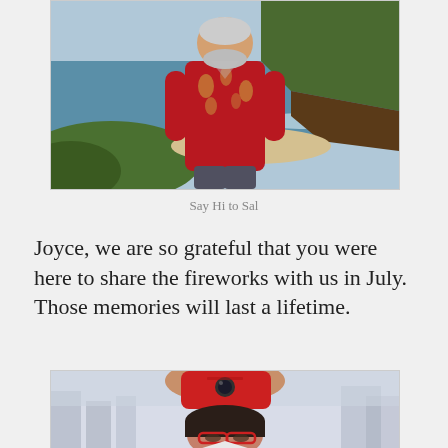[Figure (photo): Man in red Hawaiian shirt standing at a coastal overlook with ocean, beach, and green cliffs in the background.]
Say Hi to Sal
Joyce, we are so grateful that you were here to share the fireworks with us in July.  Those memories will last a lifetime.
[Figure (photo): Older Asian woman with red glasses taking a selfie with a red phone, outdoors with a blurred city background.]